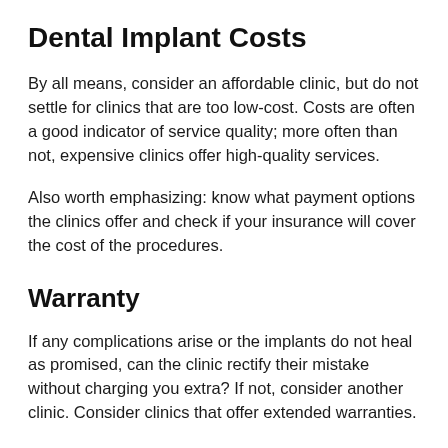Dental Implant Costs
By all means, consider an affordable clinic, but do not settle for clinics that are too low-cost. Costs are often a good indicator of service quality; more often than not, expensive clinics offer high-quality services.
Also worth emphasizing: know what payment options the clinics offer and check if your insurance will cover the cost of the procedures.
Warranty
If any complications arise or the implants do not heal as promised, can the clinic rectify their mistake without charging you extra? If not, consider another clinic. Consider clinics that offer extended warranties.